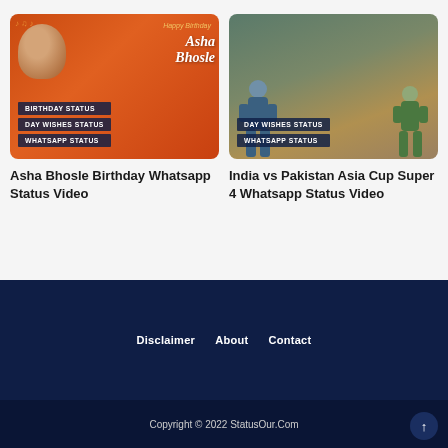[Figure (photo): Asha Bhosle birthday card thumbnail with orange background, photo of singer, and category tags: BIRTHDAY STATUS, DAY WISHES STATUS, WHATSAPP STATUS]
Asha Bhosle Birthday Whatsapp Status Video
[Figure (photo): India vs Pakistan Asia Cup cricket match thumbnail with two players, dark overlay, and category tags: DAY WISHES STATUS, WHATSAPP STATUS]
India vs Pakistan Asia Cup Super 4 Whatsapp Status Video
Disclaimer   About   Contact
Copyright © 2022 StatusOur.Com